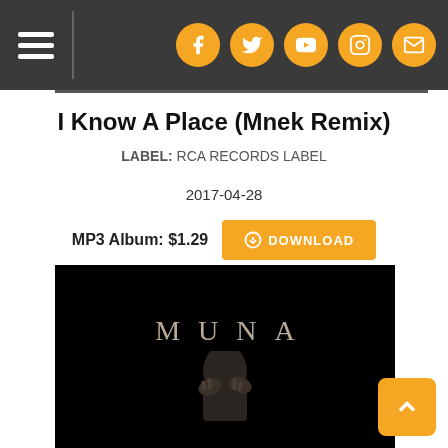Navigation bar with hamburger menu and social icons (Facebook, Twitter, YouTube, Instagram, Email)
I Know A Place (Mnek Remix)
LABEL: RCA RECORDS LABEL
2017-04-28
MP3 Album: $1.29  DOWNLOAD
[Figure (photo): Black album cover image with 'MUNA' text in spaced serif letters and a partial photo of a person with hands near face]